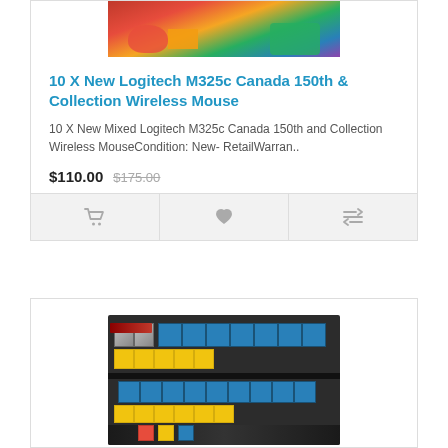[Figure (photo): Product photo of Logitech wireless mice, partially visible at top of first card]
10 X New Logitech M325c Canada 150th & Collection Wireless Mouse
10 X New Mixed Logitech M325c Canada 150th and Collection Wireless MouseCondition: New- RetailWarran..
$110.00  $175.00
[Figure (photo): Product photo showing rows of packaged Logitech mice in blue and yellow packaging on a shelf]